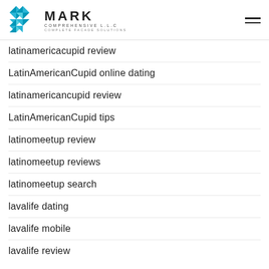MARK COMPREHENSIVE LLC — COMPLETE FACADE SOLUTIONS
latinamericacupid review
LatinAmericanCupid online dating
latinamericancupid review
LatinAmericanCupid tips
latinomeetup review
latinomeetup reviews
latinomeetup search
lavalife dating
lavalife mobile
lavalife review